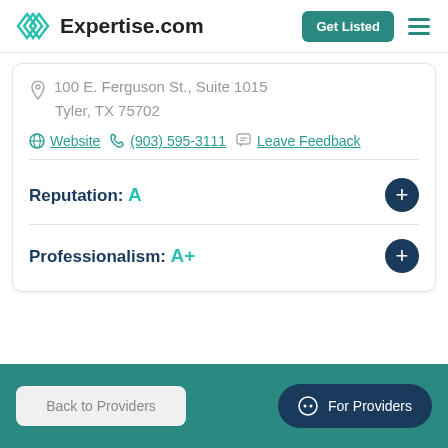Expertise.com
100 E. Ferguson St., Suite 1015
Tyler, TX 75702
Website  (903) 595-3111  Leave Feedback
Reputation: A
Professionalism: A+
Back to Providers
For Providers